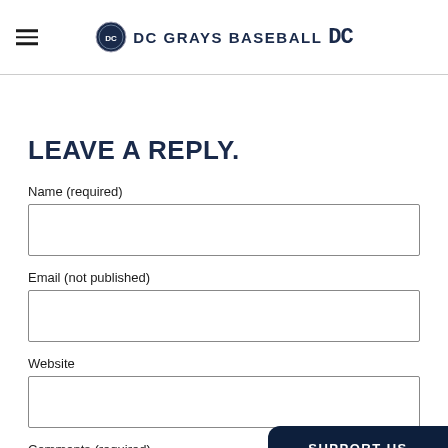DC GRAYS BASEBALL
LEAVE A REPLY.
Name (required)
Email (not published)
Website
Comments (required)
SUPPORT US